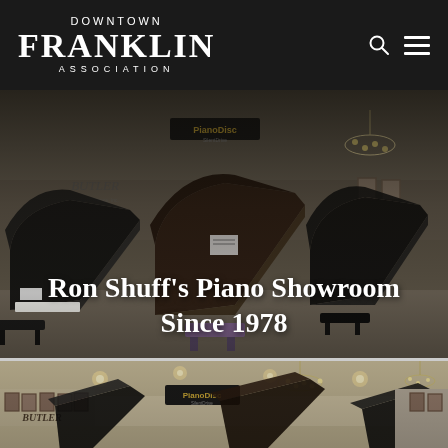DOWNTOWN FRANKLIN ASSOCIATION
[Figure (photo): Interior of Ron Shuff's Piano Showroom showing multiple grand pianos with lids open on a showroom floor, with chandelier visible. Text overlay reads 'Ron Shuff's Piano Showroom Since 1978'.]
Ron Shuff's Piano Showroom Since 1978
[Figure (photo): Interior of piano showroom from a different angle showing grand pianos with lids open, chandeliers overhead, framed pictures on walls, and PianoDisc and Butler signage visible.]